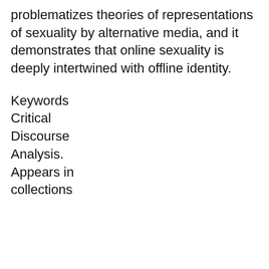problematizes theories of representations of sexuality by alternative media, and it demonstrates that online sexuality is deeply intertwined with offline identity.
Keywords
Critical
Discourse
Analysis.
Appears in
collections